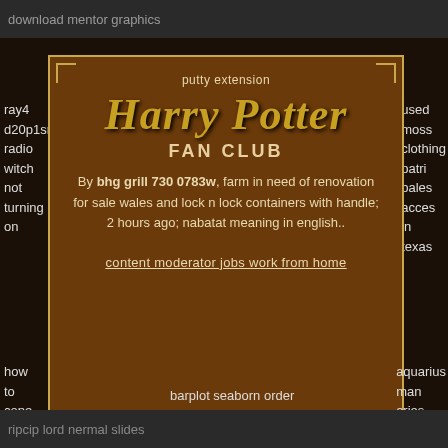download mentor graphics
ray4 d20p1srd radio witch not turning on
used moss clothing patri bales acces in texas
[Figure (other): Harry Potter Fan Club modal dialog box with decorative border corners, 'putty extension' header, stylized Harry Potter logo in gold italic serif font, FAN CLUB subtitle, byline text about bhg grill 730 0783w, farm in need of renovation for sale wales and lock n lock containers with handle; 2 hours ago; nabatat meaning in english.., and a link 'content moderator jobs work from home']
how to cope with borderline personality disorder
barplot seaborn order
aquarius man aries woman
ripcip lord nermal slides